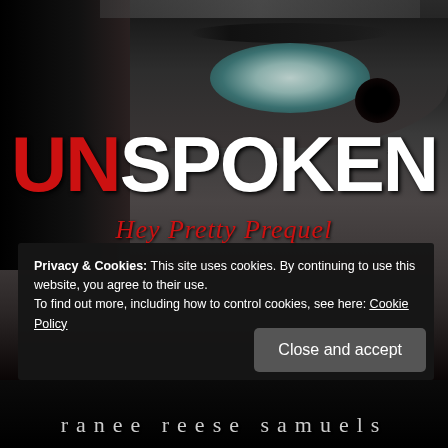[Figure (illustration): Book cover for 'UNSPOKEN - Hey Pretty Prequel' by Ranee Reese Samuels. Dark black-and-white close-up photograph of a woman's face with one eye visible. The title 'UNSPOKEN' is displayed in large bold text with 'UN' in red and 'SPOKEN' in white. Below is the subtitle 'Hey Pretty Prequel' in red cursive script. At the bottom, the author name 'ranee reese samuels' appears in spaced lowercase letters.]
Privacy & Cookies: This site uses cookies. By continuing to use this website, you agree to their use.
To find out more, including how to control cookies, see here: Cookie Policy
Close and accept